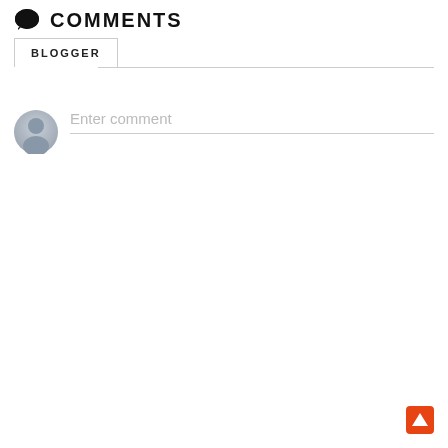COMMENTS
BLOGGER
[Figure (illustration): Comment input area with avatar placeholder and 'Enter comment' text field]
[Figure (illustration): Orange upward-pointing arrow button for scrolling to top]